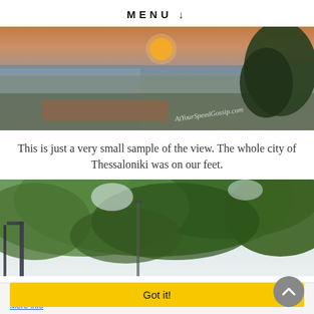MENU ↓
[Figure (photo): Panoramic aerial view of Thessaloniki city at sunset, with orange sun on horizon, dense urban sprawl, pine tree in foreground right, watermark reading 'ArYourSpeedGossip.com']
This is just a very small sample of the view. The whole city of Thessaloniki was on our feet.
[Figure (photo): Close-up photo looking up through green leafy tree canopy against bright sky, with construction crane or metal structure visible on left side]
This website uses cookies to ensure you get the best experience on our website. More info
Got it!